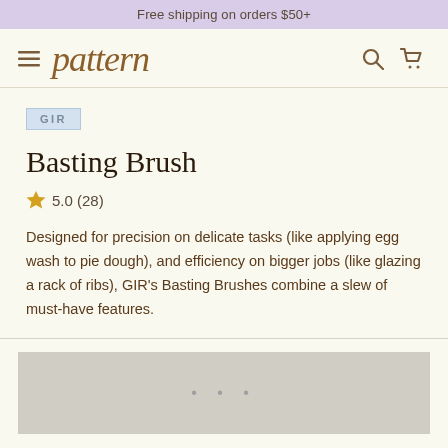Free shipping on orders $50+
[Figure (logo): Pattern brand logo with hamburger menu icon and navigation icons (search, cart)]
GIR
Basting Brush
5.0 (28)
Designed for precision on delicate tasks (like applying egg wash to pie dough), and efficiency on bigger jobs (like glazing a rack of ribs), GIR's Basting Brushes combine a slew of must-have features.
[Figure (photo): Gray placeholder image area with three dots indicating loading content]